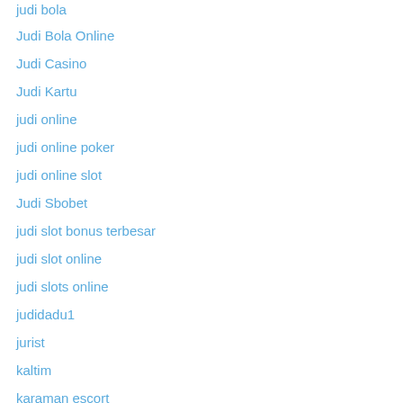judi bola
Judi Bola Online
Judi Casino
Judi Kartu
judi online
judi online poker
judi online slot
Judi Sbobet
judi slot bonus terbesar
judi slot online
judi slots online
judidadu1
jurist
kaltim
karaman escort
karamora
kasino online